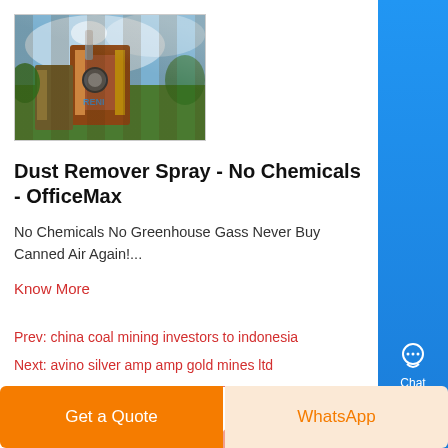[Figure (photo): Industrial mining or construction equipment with mist/dust, rusty metal structures and green foliage in background with blue sky visible]
Dust Remover Spray - No Chemicals - OfficeMax
No Chemicals No Greenhouse Gass Never Buy Canned Air Again!...
Know More
Prev: china coal mining investors to indonesia
Next: avino silver amp amp gold mines ltd
[Figure (illustration): Decorative bubble/circle pattern in light orange and pink tones]
Get a Quote
WhatsApp